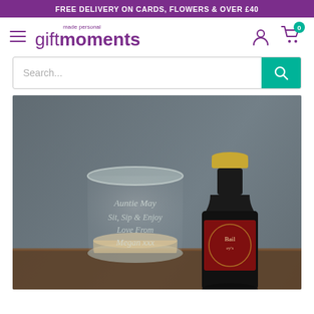FREE DELIVERY ON CARDS, FLOWERS & OVER £40
[Figure (logo): Gift Moments logo with hamburger menu icon]
[Figure (screenshot): Search bar with teal search button]
[Figure (photo): Product photo showing a personalised glass engraved with 'Auntie May, Sit, Sip & Enjoy, Love From, Megan xxx' next to a miniature Baileys bottle, on a dark slate background]